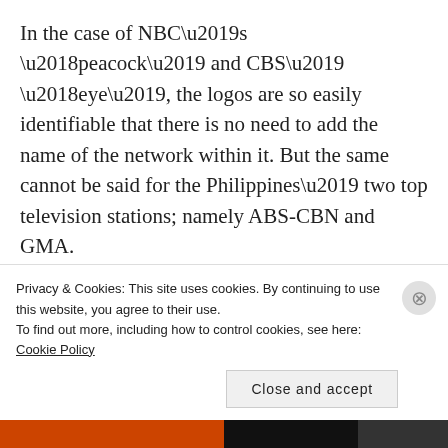In the case of NBC’s ‘peacock’ and CBS’ ‘eye’, the logos are so easily identifiable that there is no need to add the name of the network within it. But the same cannot be said for the Philippines’ two top television stations; namely ABS-CBN and GMA.
ABS-CBN is forever identified by the three RGB (red, green and blue) circles and a black bar that
Privacy & Cookies: This site uses cookies. By continuing to use this website, you agree to their use.
To find out more, including how to control cookies, see here: Cookie Policy